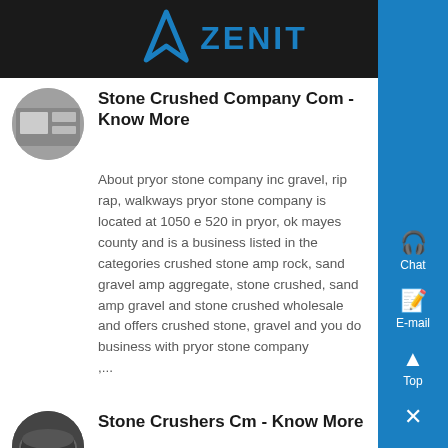[Figure (logo): Zenit logo with blue arch/triangle icon and blue text 'ZENIT' on dark background header bar]
Stone Crushed Company Com - Know More
About pryor stone company inc gravel, rip rap, walkways pryor stone company is located at 1050 e 520 in pryor, ok mayes county and is a business listed in the categories crushed stone amp rock, sand gravel amp aggregate, stone crushed, sand amp gravel and stone crushed wholesale and offers crushed stone, gravel and you do business with pryor stone company ,...
Stone Crushers Cm - Know More
Stone crushers with a max working depth of 25 cm and crushing capacity up to 50 cm20 of diameter for tractors between 180 and 300 HP Get price Cone